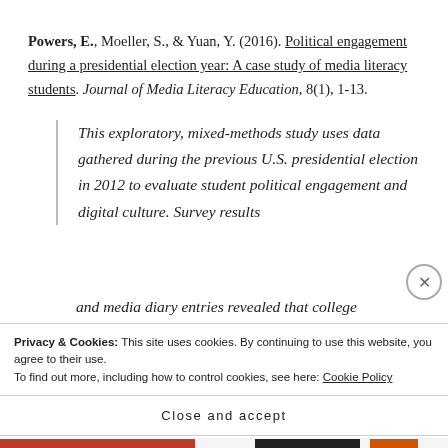Powers, E., Moeller, S., & Yuan, Y. (2016). Political engagement during a presidential election year: A case study of media literacy students. Journal of Media Literacy Education, 8(1), 1-13.
This exploratory, mixed-methods study uses data gathered during the previous U.S. presidential election in 2012 to evaluate student political engagement and digital culture. Survey results and media diary entries revealed that college...
Privacy & Cookies: This site uses cookies. By continuing to use this website, you agree to their use.
To find out more, including how to control cookies, see here: Cookie Policy
Close and accept